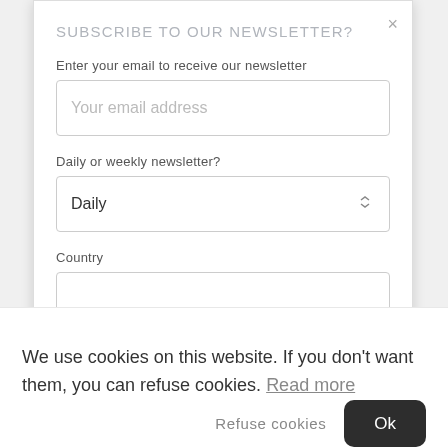SUBSCRIBE TO OUR NEWSLETTER?
Enter your email to receive our newsletter
Your email address
Daily or weekly newsletter?
Daily
Country
We use cookies on this website. If you don't want them, you can refuse cookies. Read more
Refuse cookies
Ok